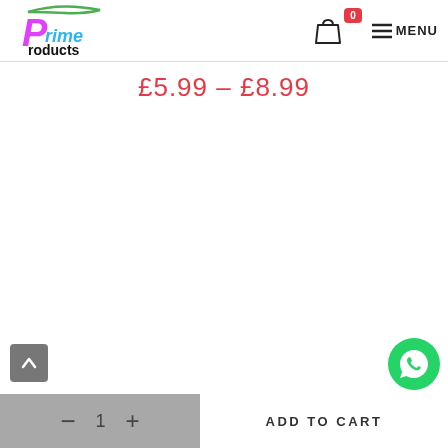[Figure (logo): Prime Products logo with pink 'P' and teal/blue 'rime Products' text with green swoosh]
[Figure (infographic): Shopping bag icon with red badge showing '0' and hamburger menu icon with MENU text]
£5.99 – £8.99
[Figure (infographic): Scroll to top button (grey square with up arrow)]
[Figure (infographic): WhatsApp green circle icon]
- 1 +
ADD TO CART